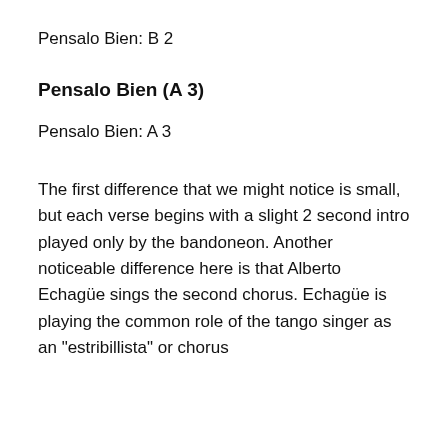Pensalo Bien: B 2
Pensalo Bien (A 3)
Pensalo Bien: A 3
The first difference that we might notice is small, but each verse begins with a slight 2 second intro played only by the bandoneon. Another noticeable difference here is that Alberto Echagüe sings the second chorus. Echagüe is playing the common role of the tango singer as an "estribillista" or chorus